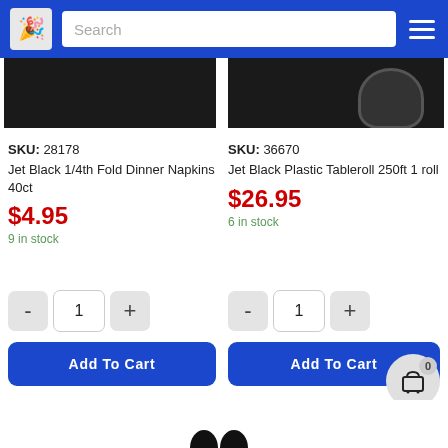Search
SKU: 28178
Jet Black 1/4th Fold Dinner Napkins 40ct
$4.95
9 in stock
SKU: 36670
Jet Black Plastic Tableroll 250ft 1 roll
$26.95
6 in stock
Add To Cart
Add To Cart